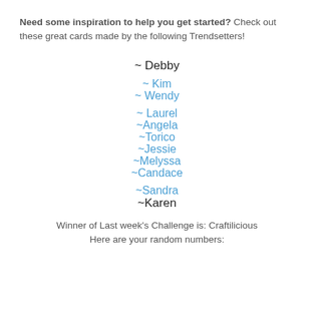Need some inspiration to help you get started? Check out these great cards made by the following Trendsetters!
~ Debby
~ Kim
~ Wendy
~ Laurel
~Angela
~Torico
~Jessie
~Melyssa
~Candace
~Sandra
~Karen
Winner of Last week's Challenge is: Craftilicious
Here are your random numbers: